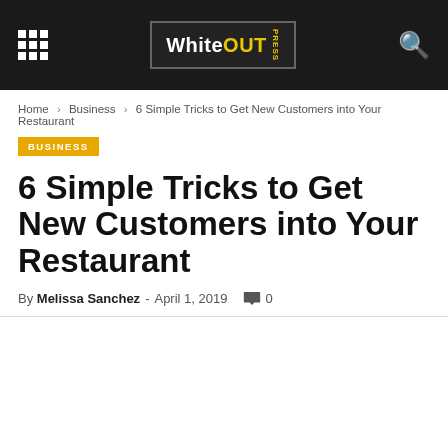WhiteOUT PRESS
Home › Business › 6 Simple Tricks to Get New Customers into Your Restaurant
BUSINESS
6 Simple Tricks to Get New Customers into Your Restaurant
By Melissa Sanchez - April 1, 2019  0